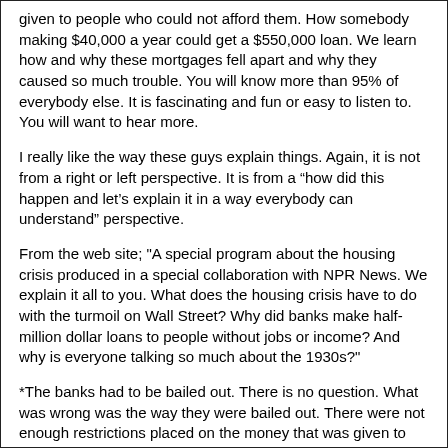given to people who could not afford them. How somebody making $40,000 a year could get a $550,000 loan. We learn how and why these mortgages fell apart and why they caused so much trouble. You will know more than 95% of everybody else. It is fascinating and fun or easy to listen to. You will want to hear more.
I really like the way these guys explain things. Again, it is not from a right or left perspective. It is from a “how did this happen and let’s explain it in a way everybody can understand” perspective.
From the web site; "A special program about the housing crisis produced in a special collaboration with NPR News. We explain it all to you. What does the housing crisis have to do with the turmoil on Wall Street? Why did banks make half-million dollar loans to people without jobs or income? And why is everyone talking so much about the 1930s?"
*The banks had to be bailed out. There is no question. What was wrong was the way they were bailed out. There were not enough restrictions placed on the money that was given to them. For example; Goldman Sachs and BofA and AIG and others were given 10s of